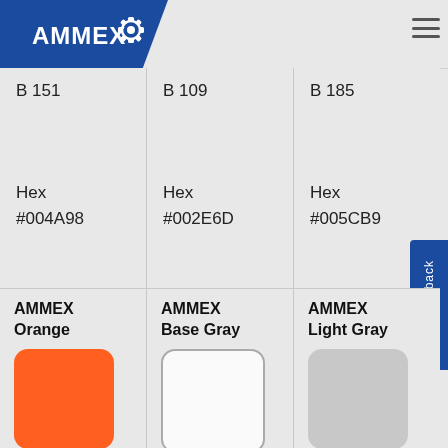[Figure (logo): AMMEX logo with gear icon on blue banner background]
B 151
B 109
B 185
Hex
#004A98
Hex
#002E6D
Hex
#005CB9
AMMEX Orange
[Figure (illustration): Orange rounded square color swatch]
R 255
G 96
AMMEX Base Gray
[Figure (illustration): White/light rounded square color swatch with gray border]
R 234
G 234
AMMEX Light Gray
[Figure (illustration): Light gray rounded square color swatch]
R 200
G 200